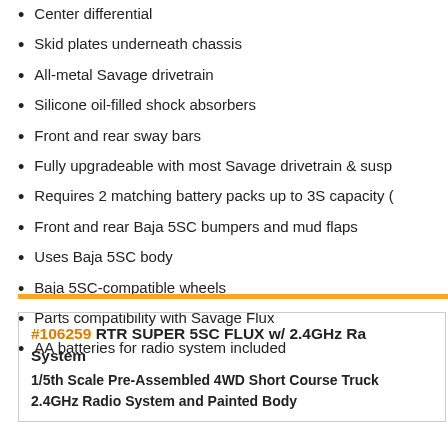Center differential
Skid plates underneath chassis
All-metal Savage drivetrain
Silicone oil-filled shock absorbers
Front and rear sway bars
Fully upgradeable with most Savage drivetrain & susp
Requires 2 matching battery packs up to 3S capacity (
Front and rear Baja 5SC bumpers and mud flaps
Uses Baja 5SC body
Baja 5SC-compatible wheels
Parts compatibility with Savage Flux
AA batteries for radio system included
#106259 RTR SUPER 5SC FLUX w/ 2.4GHz Ra System
1/5th Scale Pre-Assembled 4WD Short Course Truck
2.4GHz Radio System and Painted Body